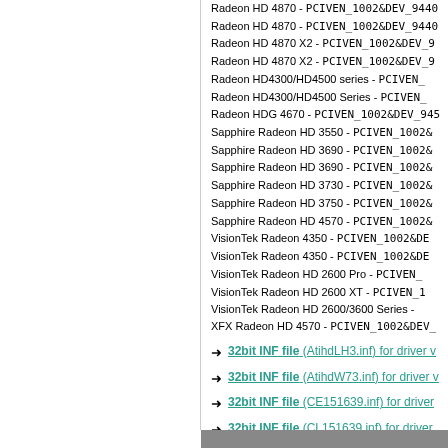Radeon HD 4870 - PCIVEN_1002&DEV_9440
Radeon HD 4870 - PCIVEN_1002&DEV_9440
Radeon HD 4870 X2 - PCIVEN_1002&DEV_9
Radeon HD 4870 X2 - PCIVEN_1002&DEV_9
Radeon HD4300/HD4500 series - PCIVEN_
Radeon HD4300/HD4500 Series - PCIVEN_
Radeon HDG 4670 - PCIVEN_1002&DEV_945
Sapphire Radeon HD 3550 - PCIVEN_1002&
Sapphire Radeon HD 3690 - PCIVEN_1002&
Sapphire Radeon HD 3690 - PCIVEN_1002&
Sapphire Radeon HD 3730 - PCIVEN_1002&
Sapphire Radeon HD 3750 - PCIVEN_1002&
Sapphire Radeon HD 4570 - PCIVEN_1002&
VisionTek Radeon 4350 - PCIVEN_1002&DE
VisionTek Radeon 4350 - PCIVEN_1002&DE
VisionTek Radeon HD 2600 Pro - PCIVEN_
VisionTek Radeon HD 2600 XT - PCIVEN_1
VisionTek Radeon HD 2600/3600 Series -
XFX Radeon HD 4570 - PCIVEN_1002&DEV_
32bit INF file (AtihdLH3.inf) for driver v...
32bit INF file (AtihdW73.inf) for driver v...
32bit INF file (CE151639.inf) for driver...
32bit INF file (CL151639.inf) for driver...
32bit INF file (CW151639.inf) for driver...